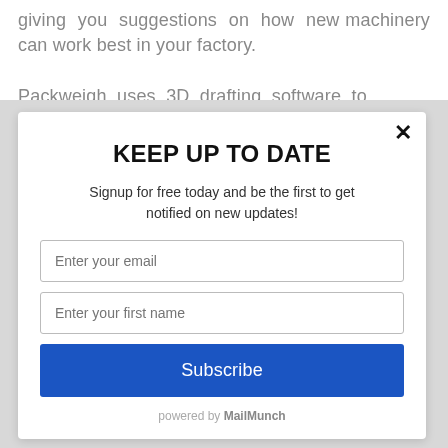giving you suggestions on how new machinery can work best in your factory.
Packweigh uses 3D drafting software to
KEEP UP TO DATE
Signup for free today and be the first to get notified on new updates!
Enter your email
Enter your first name
Subscribe
powered by MailMunch